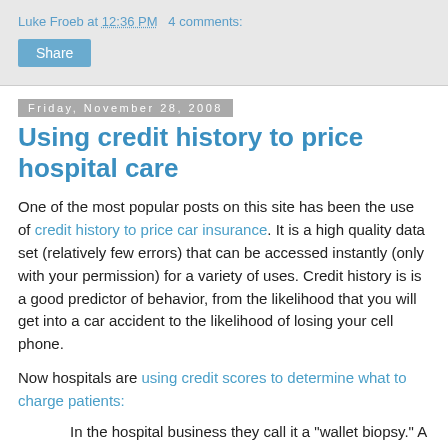Luke Froeb at 12:36 PM   4 comments:
Share
Friday, November 28, 2008
Using credit history to price hospital care
One of the most popular posts on this site has been the use of credit history to price car insurance. It is a high quality data set (relatively few errors) that can be accessed instantly (only with your permission) for a variety of uses. Credit history is is a good predictor of behavior, from the likelihood that you will get into a car accident to the likelihood of losing your cell phone.
Now hospitals are using credit scores to determine what to charge patients:
In the hospital business they call it a "wallet biopsy." A growing number of medical centers are